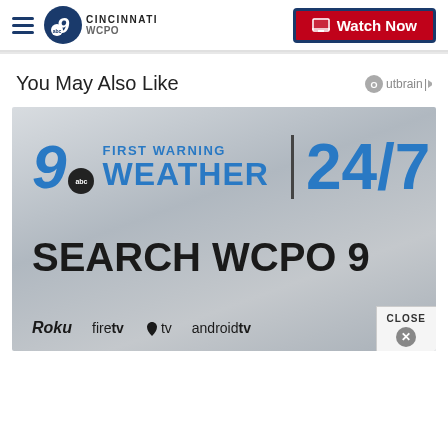WCPO 9 Cincinnati — Watch Now
You May Also Like
[Figure (screenshot): WCPO 9 First Warning Weather 24/7 advertisement banner showing 'SEARCH WCPO 9' with platform logos for Roku, firetv, Apple tv, and androidtv. Features a close button in the bottom right corner.]